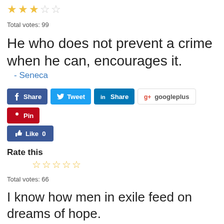[Figure (other): Star rating: 3 filled stars, 2 empty stars]
Total votes: 99
He who does not prevent a crime when he can, encourages it.
- Seneca
[Figure (other): Social share buttons: Share (Facebook), Tweet, Share (LinkedIn), googleplus, Pin, Like 0]
Rate this
[Figure (other): Star rating: 5 empty/outline stars]
Total votes: 66
I know how men in exile feed on dreams of hope.
- Aeschylus
[Figure (other): Social share buttons: Share (Facebook), Tweet, Share (LinkedIn), googleplus, Pin, Like 0]